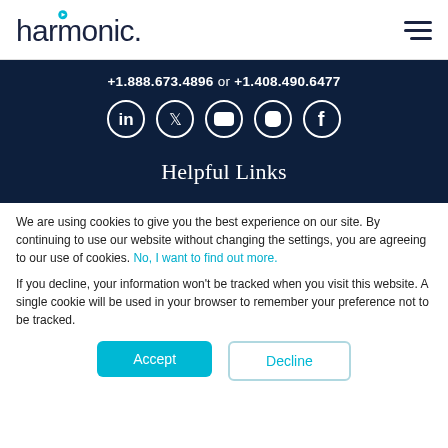[Figure (logo): Harmonic company logo with play button icon above the letter h]
+1.888.673.4896 or  +1.408.490.6477
[Figure (infographic): Row of five social media icons: LinkedIn, Twitter, YouTube, Instagram, Facebook]
Helpful Links
We are using cookies to give you the best experience on our site. By continuing to use our website without changing the settings, you are agreeing to our use of cookies. No, I want to find out more.
If you decline, your information won't be tracked when you visit this website. A single cookie will be used in your browser to remember your preference not to be tracked.
Accept
Decline